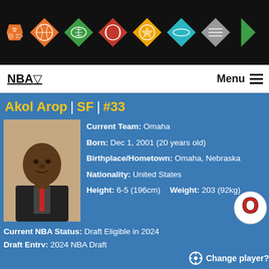RealGM - NBA, Basketball, Football, Baseball, Soccer, Hockey, Sports
NBA▽   Menu ≡
Akol Arop | SF | #33
[Figure (photo): Head shot photo of Akol Arop in a suit]
Current Team: Omaha
Born: Dec 1, 2001 (20 years old)
Birthplace/Hometown: Omaha, Nebraska
Nationality: United States
Height: 6-5 (196cm)   Weight: 203 (92kg)
Current NBA Status: Draft Eligible in 2024
Draft Entry: 2024 NBA Draft
Pre-Draft Team: Omaha (So)
High School: Creighton Preparatory School [Omaha, Nebraska]
AAU Team: Omaha Sports
[Figure (logo): University of Nebraska Omaha logo - stylized O in red and black]
Change player?